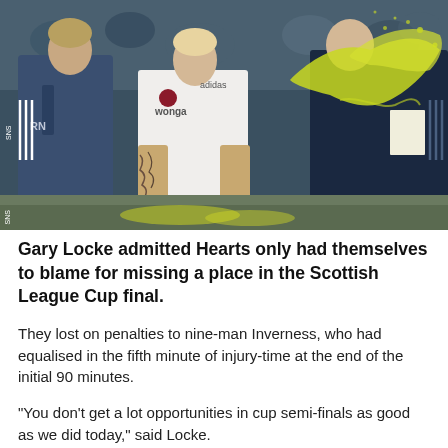[Figure (photo): Three people on a football pitch: a player in a white Hearts kit with 'wonga' sponsor and tattoos on his arms, flanked by two people in dark blue training gear, with yellow powder/confetti visible splashing in the air. Crowd visible in background.]
Gary Locke admitted Hearts only had themselves to blame for missing a place in the Scottish League Cup final.
They lost on penalties to nine-man Inverness, who had equalised in the fifth minute of injury-time at the end of the initial 90 minutes.
"You don't get a lot opportunities in cup semi-finals as good as we did today," said Locke.